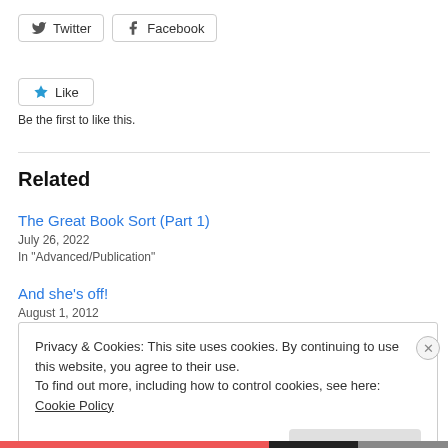Twitter
Facebook
Like
Be the first to like this.
Related
The Great Book Sort (Part 1)
July 26, 2022
In "Advanced/Publication"
And she's off!
August 1, 2012
Privacy & Cookies: This site uses cookies. By continuing to use this website, you agree to their use.
To find out more, including how to control cookies, see here: Cookie Policy
Close and accept